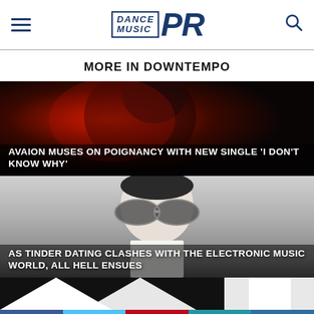Dance Music PR
MORE IN DOWNTEMPO
[Figure (photo): Dark moody image of a person illuminated by red light with article title overlay: AVAION MUSES ON POIGNANCY WITH NEW SINGLE 'I DON'T KNOW WHY']
[Figure (photo): Person wearing aviator sunglasses, grey background, with article title overlay: AS TINDER DATING CLASHES WITH THE ELECTRONIC MUSIC WORLD, ALL HELL ENSUES]
[Figure (photo): Partial black and white geometric/chevron pattern image at bottom]
Social media icons bar: Facebook, Twitter, Pinterest, Google+, Comments